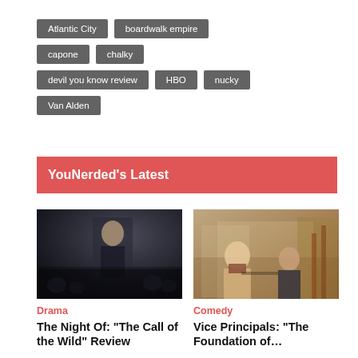Atlantic City
boardwalk empire
capone
chalky
devil you know review
HBO
nucky
Van Alden
YouNerded’s Latest
[Figure (photo): Dark dramatic scene with a person in a suit standing in a dimly lit room with people in the background]
Drama
The Night Of: “The Call of the Wild” Review
[Figure (photo): Two people standing in a warehouse or storage facility, one with arms crossed]
Comedy
Vice Principals: “The Foundation of…